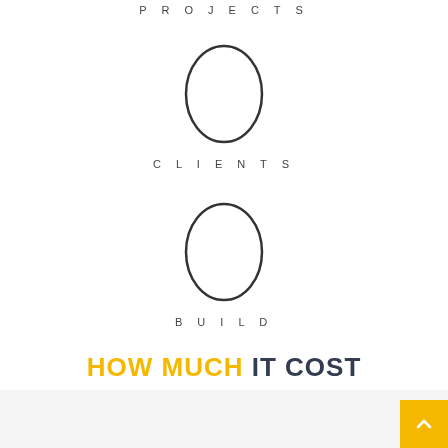PROJECTS
0 CLIENTS
0 BUILD
HOW MUCH IT COST